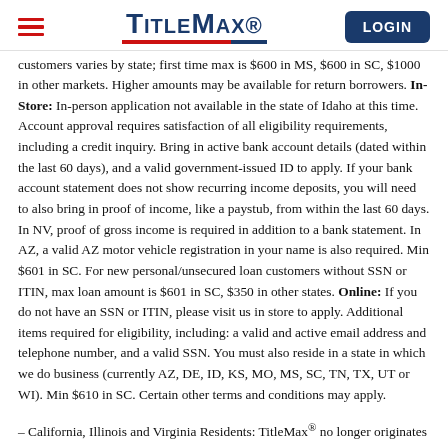TitleMax LOGIN
customers varies by state; first time max is $600 in MS, $600 in SC, $1000 in other markets. Higher amounts may be available for return borrowers. In-Store: In-person application not available in the state of Idaho at this time. Account approval requires satisfaction of all eligibility requirements, including a credit inquiry. Bring in active bank account details (dated within the last 60 days), and a valid government-issued ID to apply. If your bank account statement does not show recurring income deposits, you will need to also bring in proof of income, like a paystub, from within the last 60 days. In NV, proof of gross income is required in addition to a bank statement. In AZ, a valid AZ motor vehicle registration in your name is also required. Min $601 in SC. For new personal/unsecured loan customers without SSN or ITIN, max loan amount is $601 in SC, $350 in other states. Online: If you do not have an SSN or ITIN, please visit us in store to apply. Additional items required for eligibility, including: a valid and active email address and telephone number, and a valid SSN. You must also reside in a state in which we do business (currently AZ, DE, ID, KS, MO, MS, SC, TN, TX, UT or WI). Min $610 in SC. Certain other terms and conditions may apply.
– California, Illinois and Virginia Residents: TitleMax® no longer originates new loans in CA, IL or VA, but continues to service existing loans.